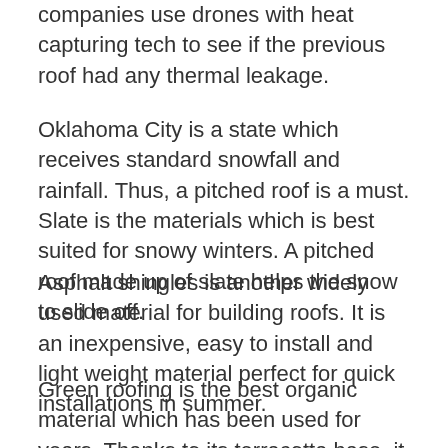companies use drones with heat capturing tech to see if the previous roof had any thermal leakage.
Oklahoma City is a state which receives standard snowfall and rainfall. Thus, a pitched roof is a must. Slate is the materials which is best suited for snowy winters. A pitched roof made up of slate helps the snow to slide off.
Asphalt shingles is another widely used material for building roofs. It is an inexpensive, easy to install and light weight material perfect for quick installations in summer.
Green roofing is the best organic material which has been used for years. Thanks to its terracotta base, it keeps the house cool. You will feel like you have a wet towel on your face. Summers in this city being hot and humid, green roofing sure does justice to it.